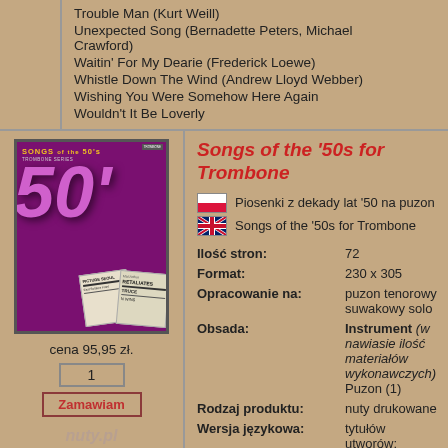Trouble Man (Kurt Weill)
Unexpected Song (Bernadette Peters, Michael Crawford)
Waitin' For My Dearie (Frederick Loewe)
Whistle Down The Wind (Andrew Lloyd Webber)
Wishing You Were Somehow Here Again
Wouldn't It Be Loverly
[Figure (illustration): Book cover for Songs of the '50s for Trombone, purple/magenta background with large stylized '50s' text and newspaper clippings]
Songs of the '50s for Trombone
Piosenki z dekady lat '50 na puzon
Songs of the '50s for Trombone
cena 95,95 zł.
1
Zamawiam
nuty.pl
| Właściwość | Wartość |
| --- | --- |
| Ilość stron: | 72 |
| Format: | 230 x 305 |
| Opracowanie na: | puzon tenorowy suwakowy solo |
| Obsada: | Instrument (w nawiasie ilość materiałów wykonawczych) Puzon (1) |
| Rodzaj produktu: | nuty drukowane |
| Wersja językowa: | tytułów utworów: angielska |